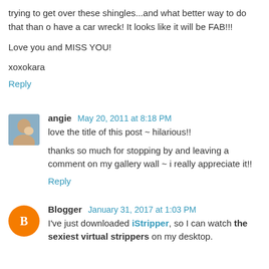trying to get over these shingles...and what better way to do that than o have a car wreck! It looks like it will be FAB!!!
Love you and MISS YOU!
xoxokara
Reply
angie  May 20, 2011 at 8:18 PM
love the title of this post ~ hilarious!!
thanks so much for stopping by and leaving a comment on my gallery wall ~ i really appreciate it!!
Reply
Blogger  January 31, 2017 at 1:03 PM
I've just downloaded iStripper, so I can watch the sexiest virtual strippers on my desktop.